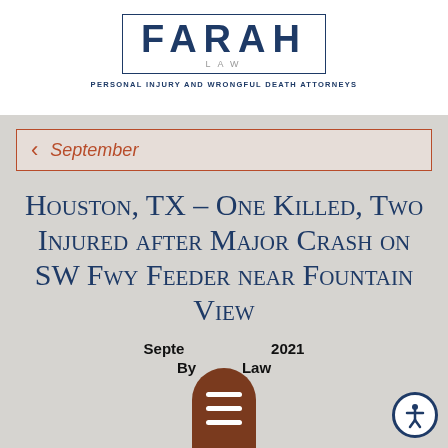[Figure (logo): Farah Law logo with border box, large FARAH text, LAW subtitle, and tagline PERSONAL INJURY AND WRONGFUL DEATH ATTORNEYS]
< September
Houston, TX – One Killed, Two Injured after Major Crash on SW Fwy Feeder near Fountain View
September 2021
By Farah Law